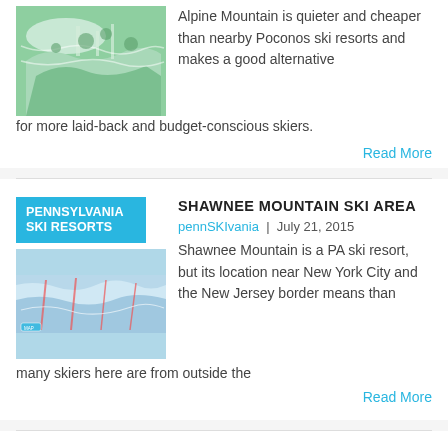[Figure (illustration): Aerial ski trail map illustration with green and white snowy terrain]
Alpine Mountain is quieter and cheaper than nearby Poconos ski resorts and makes a good alternative for more laid-back and budget-conscious skiers.
Read More
[Figure (illustration): Pennsylvania Ski Resorts badge with aerial ski trail map below]
SHAWNEE MOUNTAIN SKI AREA
pennSKIvania  |  July 21, 2015
Shawnee Mountain is a PA ski resort, but its location near New York City and the New Jersey border means than many skiers here are from outside the
Read More
[Figure (illustration): Pennsylvania Ski Resorts badge with ski trail map thumbnail below]
SKI BIG BEAR AT MASTHOPE MOUNTAIN
pennSKIvania  |  July 21, 2015